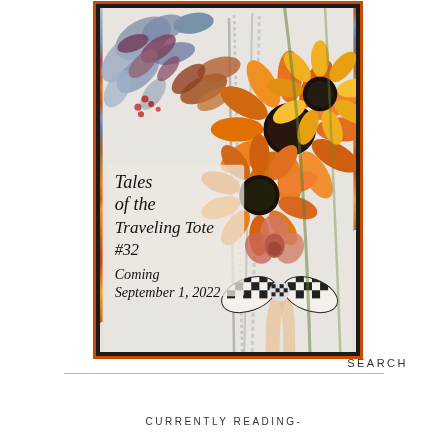[Figure (illustration): Book cover for 'Tales of the Traveling Tote #32', coming September 1, 2022. Features an autumn floral arrangement with orange sunflowers, red and purple foliage, and a black-and-white checkered ribbon, on a light background. The cover has a thick black border with an orange outline.]
SEARCH
CURRENTLY READING-